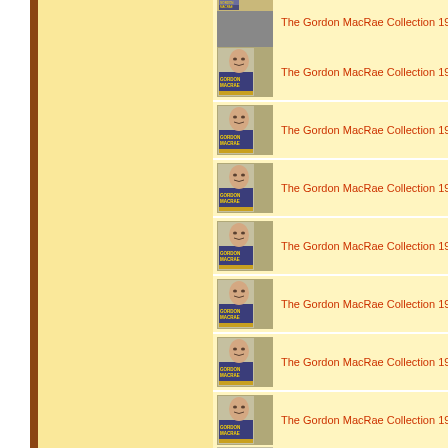[Figure (screenshot): Website listing page showing repeated entries of 'The Gordon MacRae Collection 1945-62' with album cover thumbnails on a cream/yellow background, with a brown sidebar on the left.]